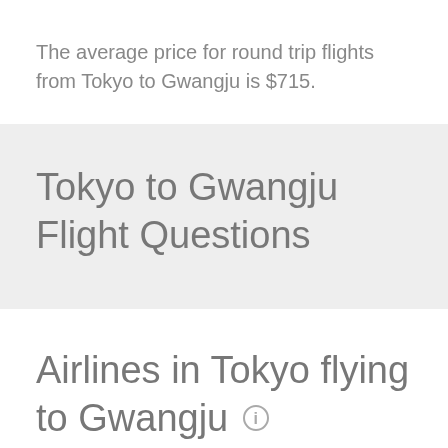The average price for round trip flights from Tokyo to Gwangju is $715.
Tokyo to Gwangju Flight Questions
Airlines in Tokyo flying to Gwangju